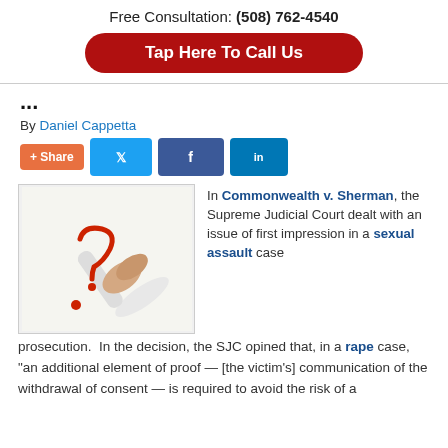Free Consultation: (508) 762-4540
Tap Here To Call Us
...
By Daniel Cappetta
[Figure (illustration): Hand holding a red marker drawing a question mark]
In Commonwealth v. Sherman, the Supreme Judicial Court dealt with an issue of first impression in a sexual assault case prosecution. In the decision, the SJC opined that, in a rape case, "an additional element of proof — [the victim's] communication of the withdrawal of consent — is required to avoid the risk of a